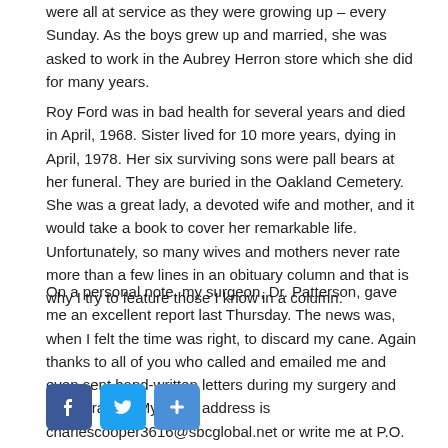were all at service as they were growing up – every Sunday.  As the boys grew up and married, she was asked to work in the Aubrey Herron store which she did for many years.
Roy Ford was in bad health for several years and died in April, 1968.  Sister lived for 10 more years, dying in April, 1978.  Her six surviving sons were pall bears at her funeral. They are buried in the Oakland Cemetery.  She was a great lady, a devoted wife and mother, and it would take a book to cover her remarkable life.  Unfortunately, so many wives and mothers never rate more than a few lines in an obituary column and that is why I try to feature those I know in a column.
On a personal note, my surgeon, Dr. Patterson, gave me an excellent report last Thursday. The news was, when I felt the time was right, to discard my cane.  Again thanks to all of you who called and emailed me and even sent hand-written letters during my surgery and recuperation.  My email address is charlescooper3616@sbcglobal.net or write me at P.O. Box 613189 Memphis, Tn 38101 and have a great week.
[Figure (other): Social sharing buttons: Facebook (blue), Twitter (blue), and a blue plus/share button]